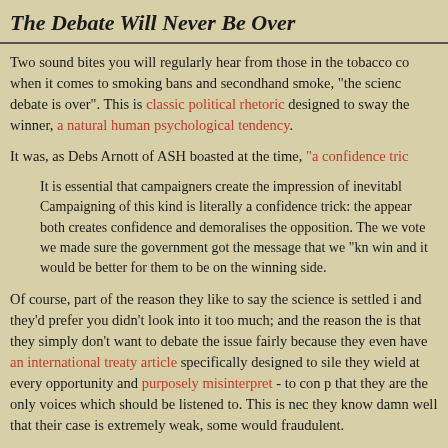The Debate Will Never Be Over
Two sound bites you will regularly hear from those in the tobacco co when it comes to smoking bans and secondhand smoke, "the scienc debate is over". This is classic political rhetoric designed to sway the winner, a natural human psychological tendency.
It was, as Debs Arnott of ASH boasted at the time, "a confidence tric
It is essential that campaigners create the impression of inevitabl Campaigning of this kind is literally a confidence trick: the appear both creates confidence and demoralises the opposition. The we vote we made sure the government got the message that we "kn win and it would be better for them to be on the winning side.
Of course, part of the reason they like to say the science is settled i and they'd prefer you didn't look into it too much; and the reason the is that they simply don't want to debate the issue fairly because they even have an international treaty article specifically designed to sile they wield at every opportunity and purposely misinterpret - to con p that they are the only voices which should be listened to. This is nec they know damn well that their case is extremely weak, some would fraudulent.